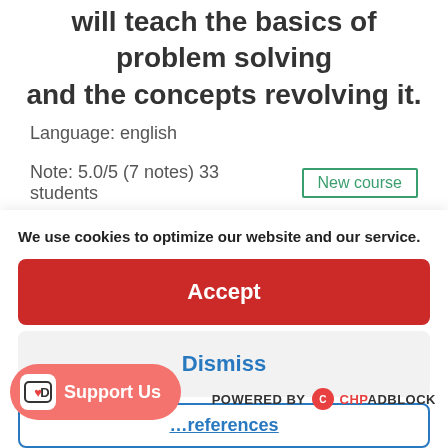will teach the basics of problem solving and the concepts revolving it.
Language: english
Note: 5.0/5 (7 notes) 33 students  New course
Instructor(s): Rohith Boppey
We use cookies to optimize our website and our service.
Accept
Dismiss
Preferences
Support Us
POWERED BY CHPADBLOCK